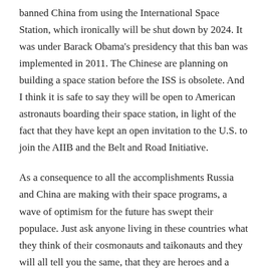banned China from using the International Space Station, which ironically will be shut down by 2024. It was under Barack Obama's presidency that this ban was implemented in 2011. The Chinese are planning on building a space station before the ISS is obsolete. And I think it is safe to say they will be open to American astronauts boarding their space station, in light of the fact that they have kept an open invitation to the U.S. to join the AIIB and the Belt and Road Initiative.
As a consequence to all the accomplishments Russia and China are making with their space programs, a wave of optimism for the future has swept their populace. Just ask anyone living in these countries what they think of their cosmonauts and taikonauts and they will all tell you the same, that they are heroes and a symbol for hope. When was the last time we in the west felt genuine optimism and hope?